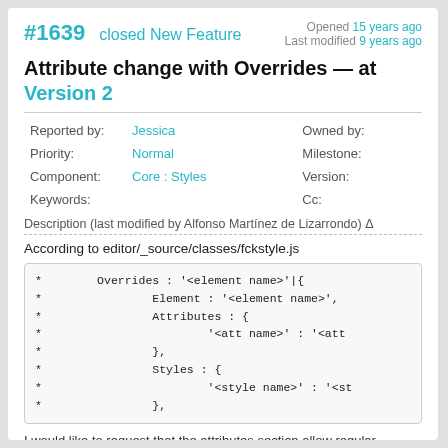#1639  closed New Feature — Opened 15 years ago, Last modified 9 years ago
Attribute change with Overrides — at Version 2
| Field | Value | Field | Value |
| --- | --- | --- | --- |
| Reported by: | Jessica | Owned by: |  |
| Priority: | Normal | Milestone: |  |
| Component: | Core : Styles | Version: |  |
| Keywords: |  | Cc: |  |
Description (last modified by Alfonso Martínez de Lizarrondo) Δ
According to editor/_source/classes/fckstyle.js
*        Overrides : '<element name>'|{
 *                Element : '<element name>',
 *                Attributes : {
 *                        '<att name>' : '<att
 *                },
 *                Styles : {
 *                        '<style name>' : '<st
 *                },
I would like to request that the attributes section allow regular expressions for the attribute name. I would like to be able to override